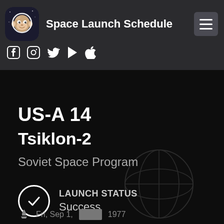Space Launch Schedule
[Figure (logo): Space Launch Schedule app logo — cartoon astronaut monkey]
US-A 14
Tsiklon-2
Soviet Space Program
LAUNCH STATUS
Success